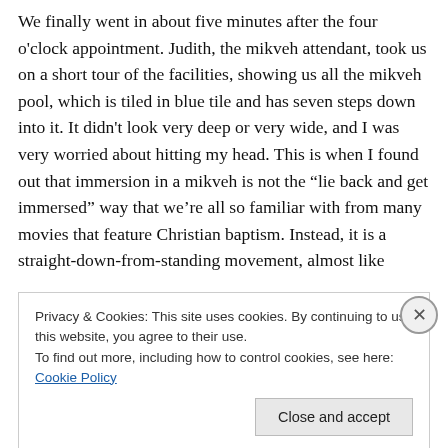We finally went in about five minutes after the four o'clock appointment. Judith, the mikveh attendant, took us on a short tour of the facilities, showing us all the mikveh pool, which is tiled in blue tile and has seven steps down into it. It didn't look very deep or very wide, and I was very worried about hitting my head. This is when I found out that immersion in a mikveh is not the “lie back and get immersed” way that we’re all so familiar with from many movies that feature Christian baptism. Instead, it is a straight-down-from-standing movement, almost like
Privacy & Cookies: This site uses cookies. By continuing to use this website, you agree to their use.
To find out more, including how to control cookies, see here: Cookie Policy